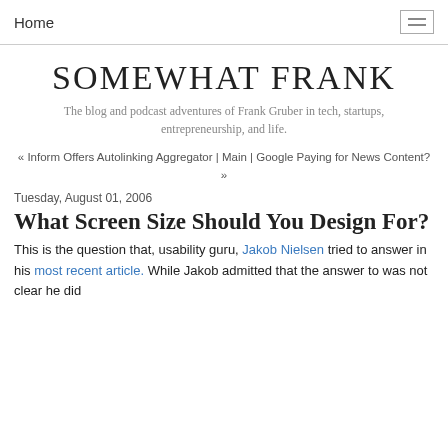Home
SOMEWHAT FRANK
The blog and podcast adventures of Frank Gruber in tech, startups, entrepreneurship, and life.
« Inform Offers Autolinking Aggregator | Main | Google Paying for News Content? »
Tuesday, August 01, 2006
What Screen Size Should You Design For?
This is the question that, usability guru, Jakob Nielsen tried to answer in his most recent article. While Jakob admitted that the answer to was not clear he did